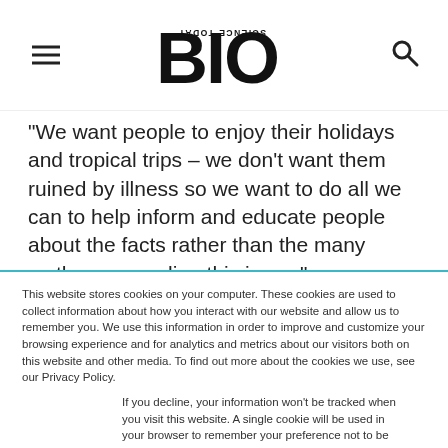BIO SCIENCE TODAY
“We want people to enjoy their holidays and tropical trips – we don’t want them ruined by illness so we want to do all we can to help inform and educate people about the facts rather than the many myths surrounding this issue.”
This website stores cookies on your computer. These cookies are used to collect information about how you interact with our website and allow us to remember you. We use this information in order to improve and customize your browsing experience and for analytics and metrics about our visitors both on this website and other media. To find out more about the cookies we use, see our Privacy Policy.
If you decline, your information won’t be tracked when you visit this website. A single cookie will be used in your browser to remember your preference not to be tracked.